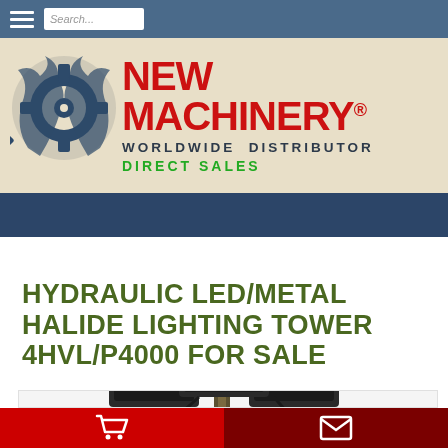[Figure (logo): New Machinery logo with gear icon, red bold text NEW MACHINERY with registered trademark, WORLDWIDE DISTRIBUTOR in dark text, DIRECT SALES in green text]
HYDRAULIC LED/METAL HALIDE LIGHTING TOWER 4HVL/P4000 FOR SALE
[Figure (photo): Hydraulic LED/Metal Halide lighting tower 4HVL/P4000, showing the lamp head assembly at top of tower mast]
Shopping cart icon | Envelope/email icon